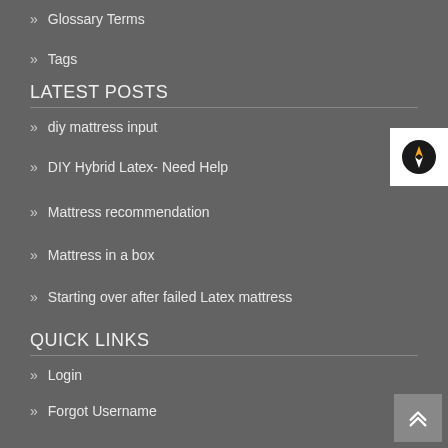» Glossary Terms
» Tags
LATEST POSTS
» diy mattress input
» DIY Hybrid Latex- Need Help
» Mattress recommendation
» Mattress in a box
» Starting over after failed Latex mattress
QUICK LINKS
» Login
» Forgot Username
» Forgot Password